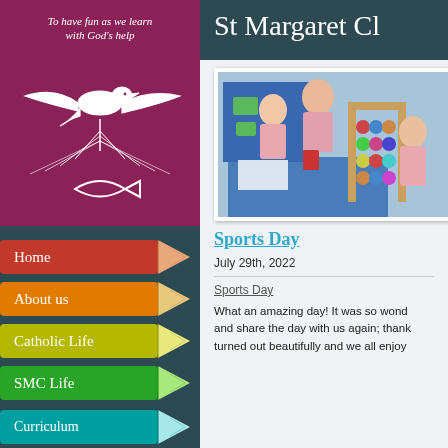[Figure (logo): St Margaret Clitherow school logo on purple background: dove with fish symbol and motto 'To have fun as we learn with God's help']
Home
About us
Catholic Life
SMC Life
Curriculum
St Margaret Cl
[Figure (photo): School students at a table with an abacus and educational materials at what appears to be a school event]
Sports Day
July 29th, 2022
Sports Day
What an amazing day! It was so wond and share the day with us again; thank turned out beautifully and we all enjoy